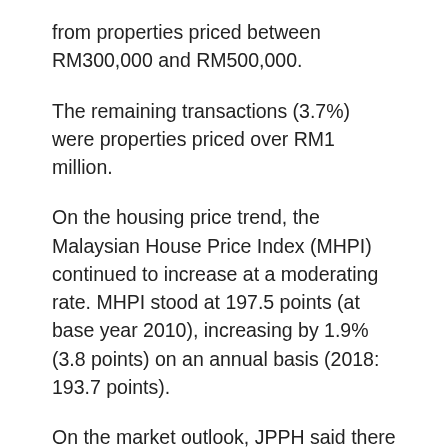from properties priced between RM300,000 and RM500,000.
The remaining transactions (3.7%) were properties priced over RM1 million.
On the housing price trend, the Malaysian House Price Index (MHPI) continued to increase at a moderating rate. MHPI stood at 197.5 points (at base year 2010), increasing by 1.9% (3.8 points) on an annual basis (2018: 193.7 points).
On the market outlook, JPPH said there may be high near-term downside risks resulting from the outbreak of the coronavirus (COVID-19) worldwide.